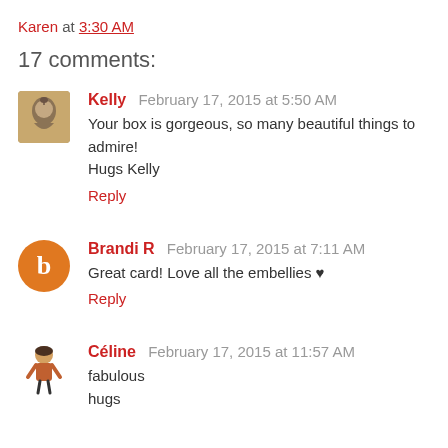Karen at 3:30 AM
17 comments:
Kelly  February 17, 2015 at 5:50 AM
Your box is gorgeous, so many beautiful things to admire! Hugs Kelly
Reply
Brandi R  February 17, 2015 at 7:11 AM
Great card! Love all the embellies ♥
Reply
Céline  February 17, 2015 at 11:57 AM
fabulous
hugs